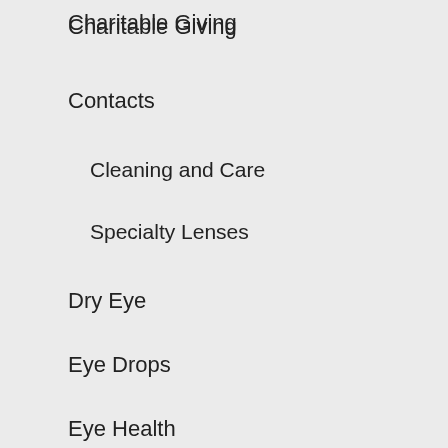Charitable Giving
Contacts
Cleaning and Care
Specialty Lenses
Dry Eye
Eye Drops
Eye Health
Eye Diseases
Safety
Seasonal Allergies
Eyelash Enhancement